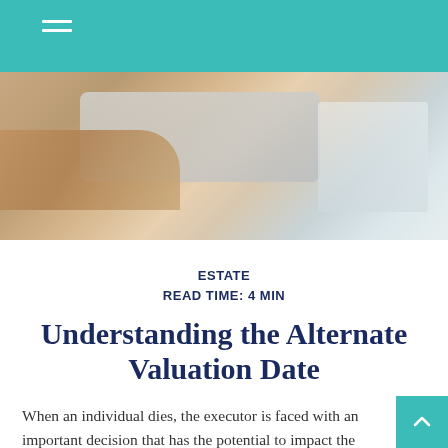[Figure (photo): Close-up photo of a person's hand near a keyboard and a notebook on a wooden desk, blurred background]
ESTATE
READ TIME: 4 MIN
Understanding the Alternate Valuation Date
When an individual dies, the executor is faced with an important decision that has the potential to impact the taxes owed by the estate and its heirs. The executor will